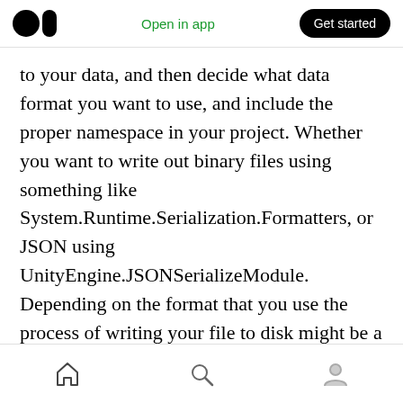Open in app | Get started
to your data, and then decide what data format you want to use, and include the proper namespace in your project. Whether you want to write out binary files using something like System.Runtime.Serialization.Formatters, or JSON using UnityEngine.JSONSerializeModule. Depending on the format that you use the process of writing your file to disk might be a bit different, but Unity does throw in a helpful way of defining where in the file system your data goes.
Home | Search | Profile